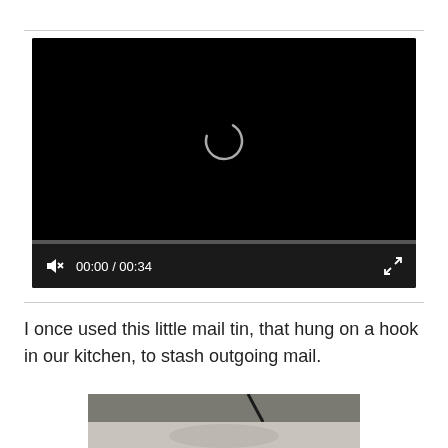[Figure (screenshot): A video player showing a black screen with a loading spinner in the center. A progress bar is visible near the bottom, and controls show muted speaker icon, time 00:00 / 00:34, and a fullscreen button.]
I once used this little mail tin, that hung on a hook in our kitchen, to stash outgoing mail.
[Figure (photo): A partial photo showing what appears to be a mail tin, partially cropped at the bottom of the page.]